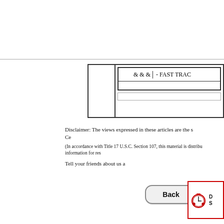[Figure (table-as-image): A bordered table with a left cell and right section containing inner rows with '& & &' and '- FAST TRAC' text]
Disclaimer: The views expressed in these articles are the s... Ce...
(In accordance with Title 17 U.S.C. Section 107, this material is distrib... information for res...
Tell your friends about us a...
[Figure (other): Back button - rounded rectangle button with bold 'Back' label]
[Figure (other): Clock icon with red border and text starting with D and S]